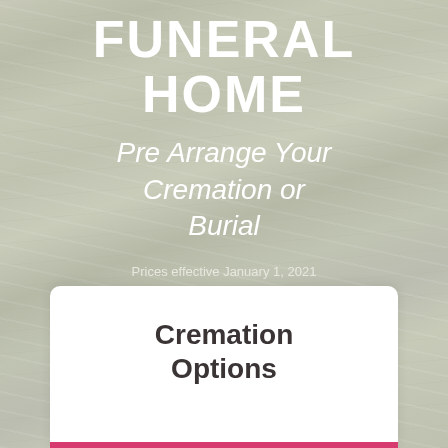FUNERAL HOME
Pre Arrange Your Cremation or Burial
Prices effective January 1, 2021
(Applicable taxes extra)
Cremation Options